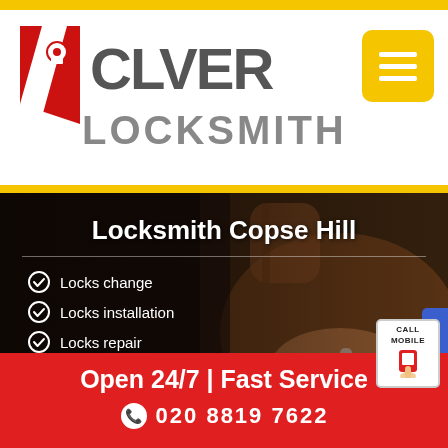[Figure (logo): Clever Locksmith logo with red shield/key icon and grey text]
[Figure (other): Hamburger menu button, golden/amber square with three white horizontal lines]
[Figure (photo): Background photo of a hand holding a key near a car door lock]
Locksmith Copse Hill
Locks change
Locks installation
Locks repair
24/7 Emergency call-out
Competitive Rates
Open 24/7 | Fast Service
CALL MOBILE
020 8819 7622